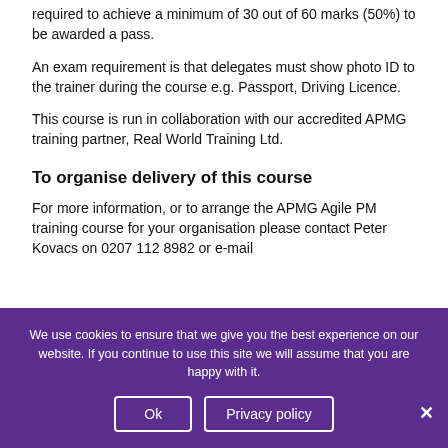required to achieve a minimum of 30 out of 60 marks (50%) to be awarded a pass.
An exam requirement is that delegates must show photo ID to the trainer during the course e.g. Passport, Driving Licence.
This course is run in collaboration with our accredited APMG training partner, Real World Training Ltd.
To organise delivery of this course
For more information, or to arrange the APMG Agile PM training course for your organisation please contact Peter Kovacs on 0207 112 8982 or e-mail
We use cookies to ensure that we give you the best experience on our website. If you continue to use this site we will assume that you are happy with it.